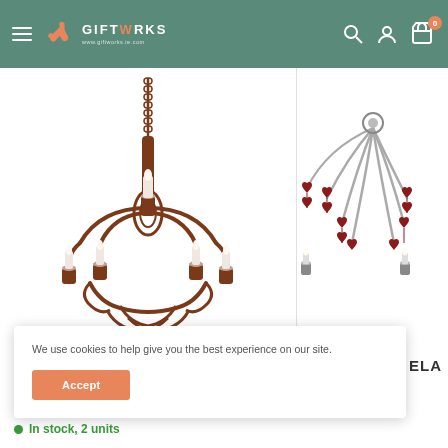GIFTWORKS — website header with navigation icons (search, account, cart with badge 0)
[Figure (photo): Main product image: a dark brown metal chandelier with 5 candle-style lights and decorative scrollwork arms, hanging from a chain. Shown against a white background.]
[Figure (photo): Secondary partially visible product image: an ornamental chandelier with silver/chrome arms and red heart/leaf shaped crystal drops.]
We use cookies to help give you the best experience on our site.
Accept
ELA
In stock, 2 units